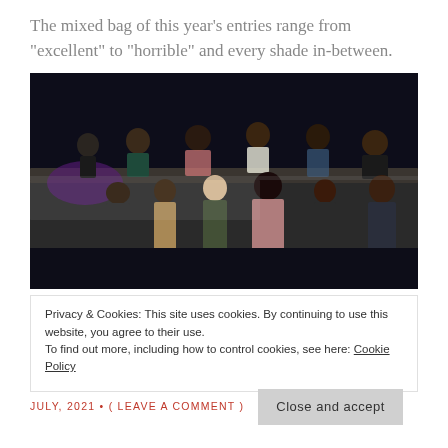The mixed bag of this year’s entries range from “excellent” to “horrible” and every shade in-between.
[Figure (photo): Group photo of diverse people standing in front of a limo at night, some sitting on top of the vehicle, posed for what appears to be a movie or TV show promotional still.]
Privacy & Cookies: This site uses cookies. By continuing to use this website, you agree to their use.
To find out more, including how to control cookies, see here: Cookie Policy
JULY, 2021 • ( LEAVE A COMMENT )